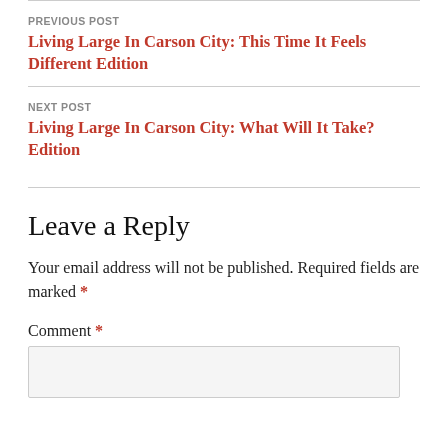PREVIOUS POST
Living Large In Carson City: This Time It Feels Different Edition
NEXT POST
Living Large In Carson City: What Will It Take? Edition
Leave a Reply
Your email address will not be published. Required fields are marked *
Comment *